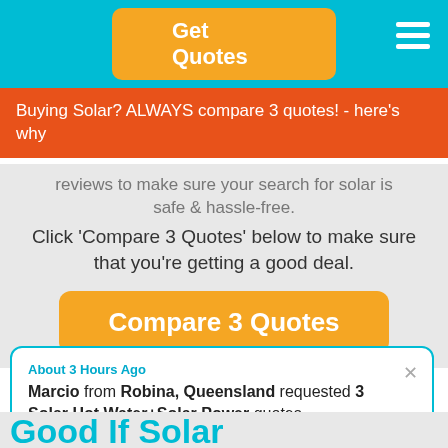Get Quotes
Buying Solar? ALWAYS compare 3 quotes! - here's why
reviews to make sure your search for solar is safe & hassle-free. Click 'Compare 3 Quotes' below to make sure that you're getting a good deal.
Compare 3 Quotes
About 3 Hours Ago
Marcio from Robina, Queensland requested 3 Solar Hot Water+Solar Power quotes.